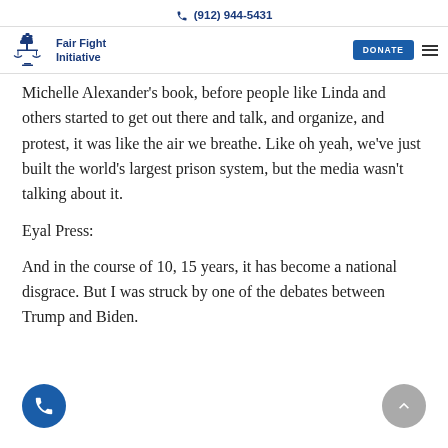(912) 944-5431
[Figure (logo): Fair Fight Initiative logo with scales of justice and fist icon]
Michelle Alexander's book, before people like Linda and others started to get out there and talk, and organize, and protest, it was like the air we breathe. Like oh yeah, we've just built the world's largest prison system, but the media wasn't talking about it.
Eyal Press:
And in the course of 10, 15 years, it has become a national disgrace. But I was struck by one of the debates between Trump and Biden.